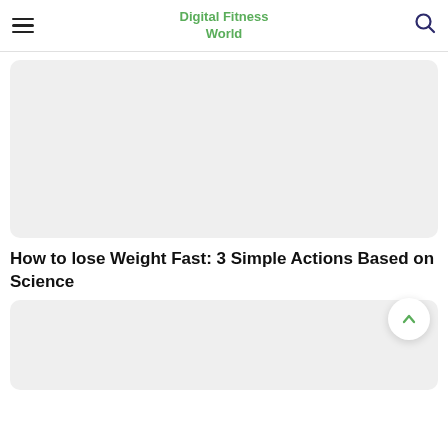Digital Fitness World
[Figure (other): Gray placeholder image box at top of article]
How to lose Weight Fast: 3 Simple Actions Based on Science
[Figure (other): Gray placeholder image box below article title]